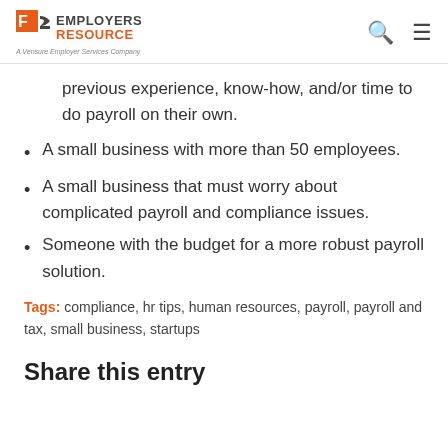EMPLOYERS RESOURCE — A Vensure Employer Services Company
previous experience, know-how, and/or time to do payroll on their own.
A small business with more than 50 employees.
A small business that must worry about complicated payroll and compliance issues.
Someone with the budget for a more robust payroll solution.
Tags: compliance, hr tips, human resources, payroll, payroll and tax, small business, startups
Share this entry